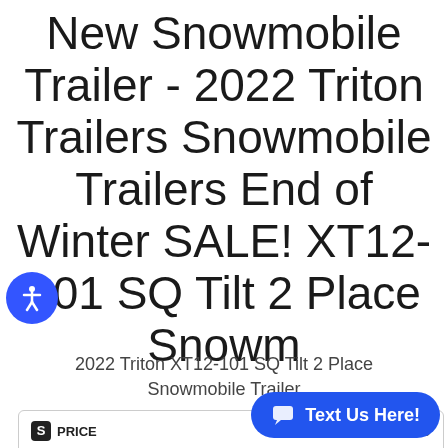New Snowmobile Trailer - 2022 Triton Trailers Snowmobile Trailers End of Winter SALE! XT12-101 SQ Tilt 2 Place Snowm
2022 Triton XT12-101 SQ Tilt 2 Place Snowmobile Trailer
|  |  |
| --- | --- |
| PRICE | $3,599.00 |
| SALE PRICE | $2,9... |
Text Us Here!